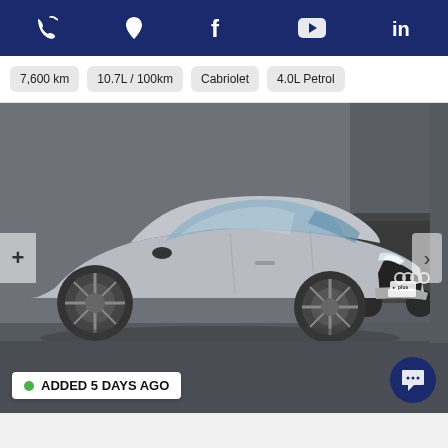Navigation icons: phone, location, facebook, youtube, linkedin
7,600 km  10.7L / 100km  Cabriolet  4.0L Petrol
[Figure (photo): Silver Audi A6 sedan photographed from front-left angle in a dealership/parking area. The car has large alloy wheels, LED headlights, and an Audi four-rings badge on the grille. A dealership badge reading 'plus' is visible on the rear. Navigation arrows and a '+' button overlay the image. Badge at bottom left reads 'ADDED 5 DAYS AGO'. Chat button at bottom right.]